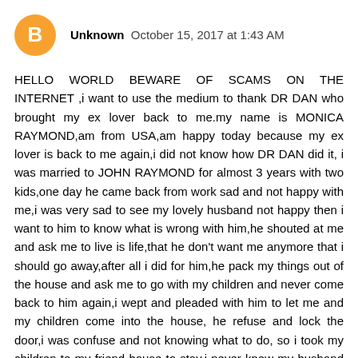Unknown  October 15, 2017 at 1:43 AM
HELLO WORLD BEWARE OF SCAMS ON THE INTERNET ,i want to use the medium to thank DR DAN who brought my ex lover back to me.my name is MONICA RAYMOND,am from USA,am happy today because my ex lover is back to me again,i did not know how DR DAN did it, i was married to JOHN RAYMOND for almost 3 years with two kids,one day he came back from work sad and not happy with me,i was very sad to see my lovely husband not happy then i want to him to know what is wrong with him,he shouted at me and ask me to live is life,that he don't want me anymore that i should go away,after all i did for him,he pack my things out of the house and ask me to go with my children and never come back to him again,i wept and pleaded with him to let me and my children come into the house, he refuse and lock the door,i was confuse and not knowing what to do, so i took my children to my friend house to stay,i never knew my husband was after a lady called TESSY who bewitch him to let me go and never think of having me back in his life again.one day as i was